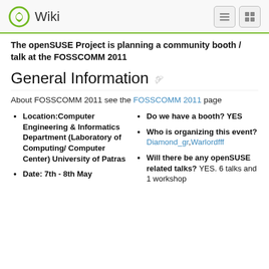Wiki
The openSUSE Project is planning a community booth / talk at the FOSSCOMM 2011
General Information
About FOSSCOMM 2011 see the FOSSCOMM 2011 page
Location:Computer Engineering & Informatics Department (Laboratory of Computing/ Computer Center) University of Patras
Date: 7th - 8th May
Do we have a booth? YES
Who is organizing this event? Diamond_gr,Warlordfff
Will there be any openSUSE related talks? YES. 6 talks and 1 workshop